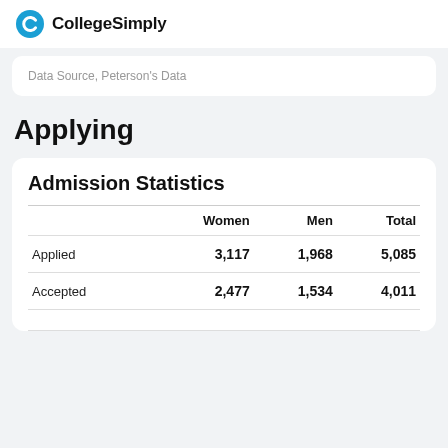CollegeSimply
Data Source, Peterson's Data
Applying
|  | Women | Men | Total |
| --- | --- | --- | --- |
| Applied | 3,117 | 1,968 | 5,085 |
| Accepted | 2,477 | 1,534 | 4,011 |